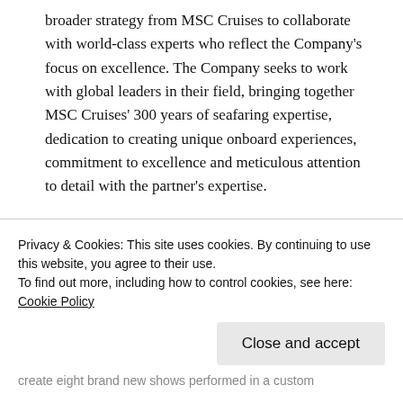broader strategy from MSC Cruises to collaborate with world-class experts who reflect the Company's focus on excellence. The Company seeks to work with global leaders in their field, bringing together MSC Cruises' 300 years of seafaring expertise, dedication to creating unique onboard experiences, commitment to excellence and meticulous attention to detail with the partner's expertise.
Other examples of best-in-class partnerships include the recently launched Wellness Experience powered by Technogym that sees the world's leading wellness
Privacy & Cookies: This site uses cookies. By continuing to use this website, you agree to their use.
To find out more, including how to control cookies, see here: Cookie Policy
Close and accept
create eight brand new shows performed in a custom